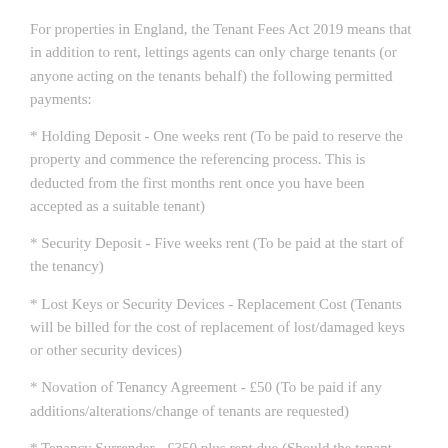For properties in England, the Tenant Fees Act 2019 means that in addition to rent, lettings agents can only charge tenants (or anyone acting on the tenants behalf) the following permitted payments:
* Holding Deposit - One weeks rent (To be paid to reserve the property and commence the referencing process. This is deducted from the first months rent once you have been accepted as a suitable tenant)
* Security Deposit - Five weeks rent (To be paid at the start of the tenancy)
* Lost Keys or Security Devices - Replacement Cost (Tenants will be billed for the cost of replacement of lost/damaged keys or other security devices)
* Novation of Tenancy Agreement - £50 (To be paid if any additions/alterations/change of tenants are requested)
* Tenancy Surrender - £350 plus rent due (Should the tenant